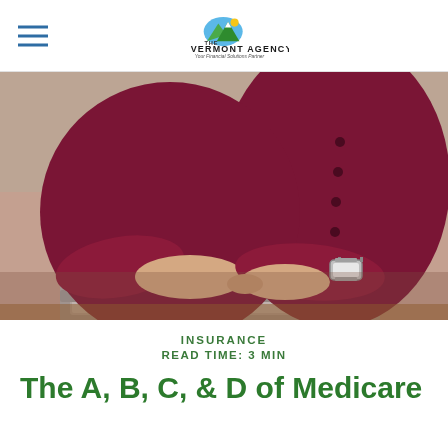THE VERMONT AGENCY — Your Financial Solutions Partner
[Figure (photo): Close-up photo of an older person wearing a dark red/maroon long-sleeve button-up shirt, typing on a silver laptop computer. A silver digital watch is visible on their wrist. The background is blurred neutral tones.]
INSURANCE
READ TIME: 3 MIN
The A, B, C, & D of Medicare